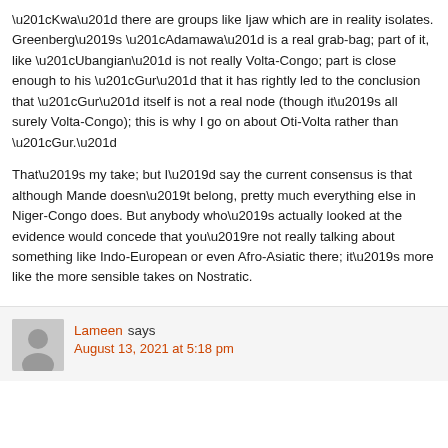“Kwa” there are groups like Ijaw which are in reality isolates. Greenberg’s “Adamawa” is a real grab-bag; part of it, like “Ubangian” is not really Volta-Congo; part is close enough to his “Gur” that it has rightly led to the conclusion that “Gur” itself is not a real node (though it’s all surely Volta-Congo); this is why I go on about Oti-Volta rather than “Gur.”
That’s my take; but I’d say the current consensus is that although Mande doesn’t belong, pretty much everything else in Niger-Congo does. But anybody who’s actually looked at the evidence would concede that you’re not really talking about something like Indo-European or even Afro-Asiatic there; it’s more like the more sensible takes on Nostratic.
Lameen says
August 13, 2021 at 5:18 pm